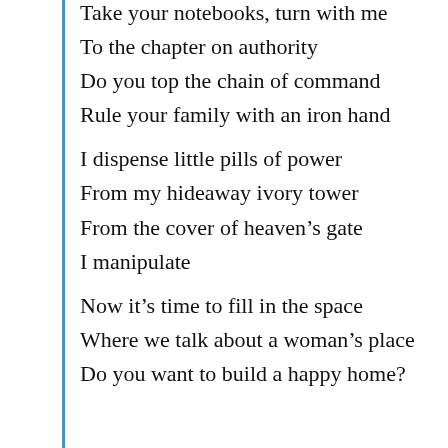Take your notebooks, turn with me
To the chapter on authority
Do you top the chain of command
Rule your family with an iron hand

I dispense little pills of power
From my hideaway ivory tower
From the cover of heaven’s gate
I manipulate

Now it’s time to fill in the space
Where we talk about a woman’s place
Do you want to build a happy home?